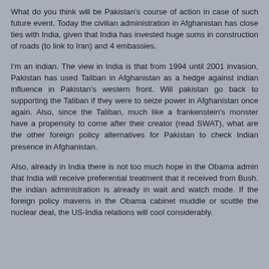What do you think will be Pakistan's course of action in case of such future event. Today the civilian administration in Afghanistan has close ties with India, given that India has invested huge sums in construction of roads (to link to Iran) and 4 embassies.
I'm an indian. The view in India is that from 1994 until 2001 invasion, Pakistan has used Taliban in Afghanistan as a hedge against indian influence in Pakistan's western front. Will pakistan go back to supporting the Taliban if they were to seize power in Afghanistan once again. Also, since the Taliban, much like a frankenstein's monster have a propensity to come after their creator (read SWAT), what are the other foreign policy alternatives for Pakistan to check Indian presence in Afghanistan.
Also, already in India there is not too much hope in the Obama admin that India will receive preferential treatment that it received from Bush. the indian administration is already in wait and watch mode. If the foreign policy mavens in the Obama cabinet muddle or scuttle the nuclear deal, the US-India relations will cool considerably.